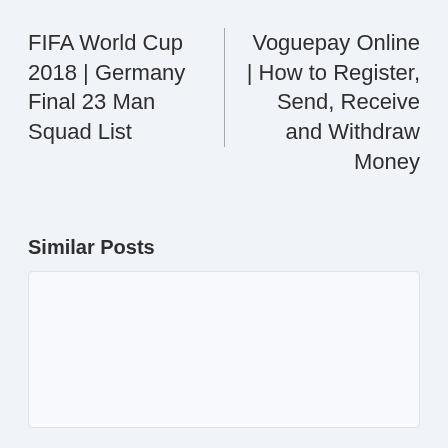FIFA World Cup 2018 | Germany Final 23 Man Squad List
Voguepay Online | How to Register, Send, Receive and Withdraw Money
Similar Posts
[Figure (other): Empty card placeholder for similar post]